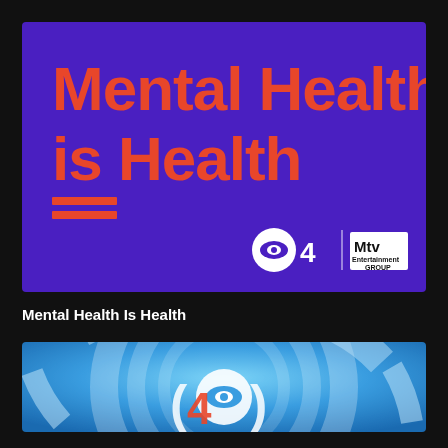[Figure (logo): Mental Health is Health campaign image with purple background, large red/orange text reading 'Mental Health is Health' with two red underline bars, CBS4 logo and MTV Entertainment Group logo in bottom right]
Mental Health Is Health
[Figure (logo): CBS4 news logo on a blue circular graphic background with geometric arc shapes]